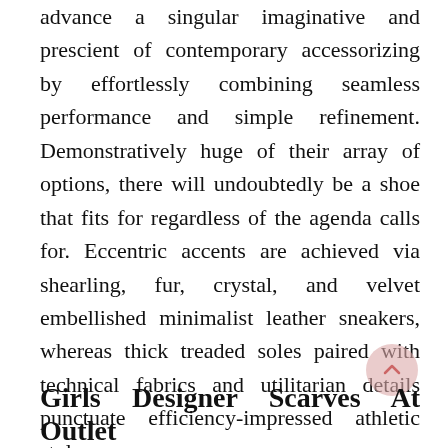advance a singular imaginative and prescient of contemporary accessorizing by effortlessly combining seamless performance and simple refinement. Demonstratively huge of their array of options, there will undoubtedly be a shoe that fits for regardless of the agenda calls for. Eccentric accents are achieved via shearling, fur, crystal, and velvet embellished minimalist leather sneakers, whereas thick treaded soles paired with technical fabrics and utilitarian details punctuate efficiency-impressed athletic styles.
Girls Designer Scarves At Outlet